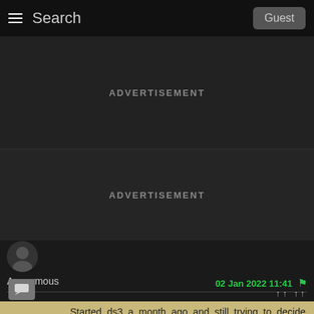Search   Guest
[Figure (other): Advertisement placeholder area (dark background, text: ADVERTISEMENT)]
[Figure (other): Advertisement placeholder area (dark background, text: ADVERTISEMENT)]
Anonymous
02 Jan 2022 11:41
Started ds3 a month ago and still trying to decide which is better,the zweihander or the Astora great sword,any advice